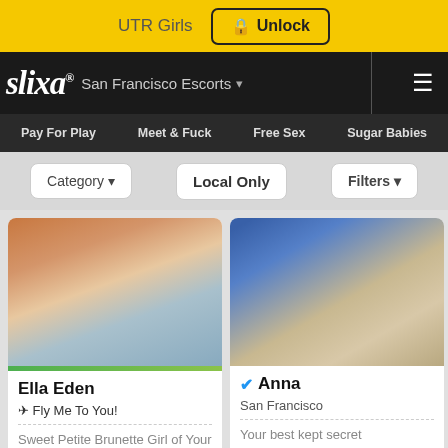UTR Girls  🔒 Unlock
slixa® San Francisco Escorts
Pay For Play  Meet & Fuck  Free Sex  Sugar Babies
Category ▾  Local Only  Filters ▾
[Figure (photo): Cropped photo of Ella Eden showing lower torso in white bikini bottom with orange wrap, poolside background]
Ella Eden
✈ Fly Me To You!
Sweet Petite Brunette Girl of Your Dreams
[Figure (photo): Cropped photo of Anna showing lower torso in blue lingerie, mirror/light background]
✔ Anna
San Francisco
Your best kept secret
[Figure (photo): Partial photo of VIP listing showing woman with brown/red hair, brick background]
[Figure (photo): Partial photo of listing showing woman with dark hair taking selfie in mirror]